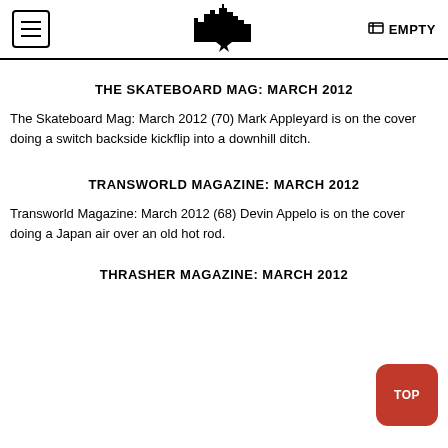Menu | [Logo] | EMPTY
THE SKATEBOARD MAG: MARCH 2012
The Skateboard Mag: March 2012 (70) Mark Appleyard is on the cover doing a switch backside kickflip into a downhill ditch.
TRANSWORLD MAGAZINE: MARCH 2012
Transworld Magazine: March 2012 (68) Devin Appelo is on the cover doing a Japan air over an old hot rod.
THRASHER MAGAZINE: MARCH 2012